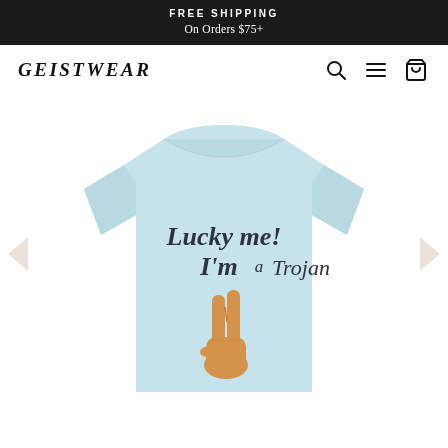FREE SHIPPING
On Orders $75+
GEISTWEAR
[Figure (photo): Light blue heather t-shirt with text 'Lucky me! I'm a Trojan' and a peace hand sign graphic printed on the front, shown on a white background with carousel navigation arrows on left and right sides.]